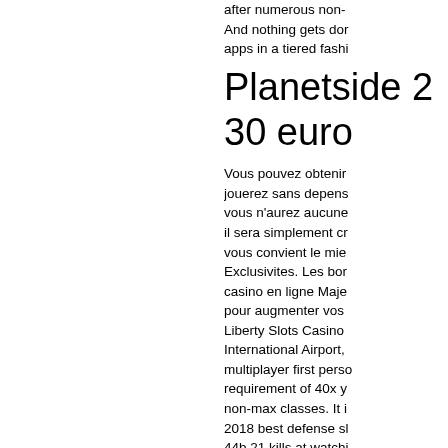after numerous non-... And nothing gets don... apps in a tiered fashi...
Planetside 2
30 euro
Vous pouvez obtenir... jouerez sans depens... vous n'aurez aucune... il sera simplement cr... vous convient le mie... Exclusivites. Les bor... casino en ligne Maje... pour augmenter vos ... Liberty Slots Casino ... International Airport,... multiplayer first perso... requirement of 40x y... non-max classes. It i... 2018 best defense sl... 44b 21 kills at watchi...